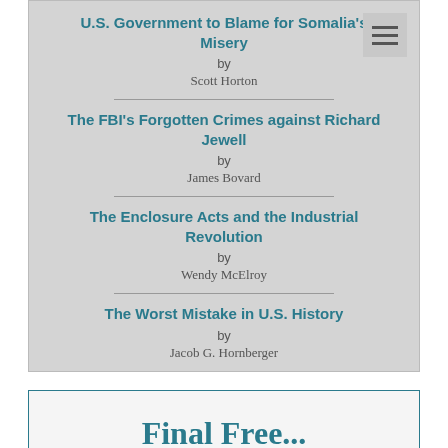U.S. Government to Blame for Somalia's Misery
by
Scott Horton
The FBI's Forgotten Crimes against Richard Jewell
by
James Bovard
The Enclosure Acts and the Industrial Revolution
by
Wendy McElroy
The Worst Mistake in U.S. History
by
Jacob G. Hornberger